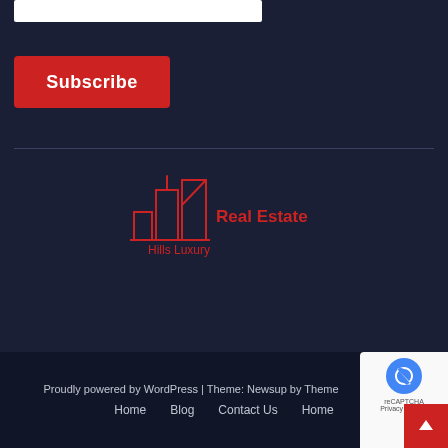[Figure (other): White input/text field bar at the top]
[Figure (other): Red Subscribe button]
[Figure (logo): Hills Luxury Real Estate logo with red building/skyline icon and red text]
Proudly powered by WordPress | Theme: Newsup by Theme
Home   Blog   Contact Us   Home